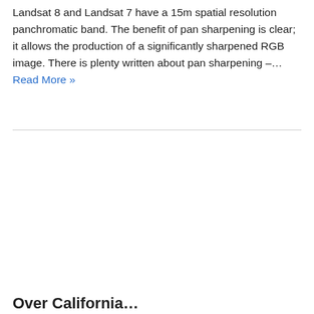Landsat 8 and Landsat 7 have a 15m spatial resolution panchromatic band. The benefit of pan sharpening is clear; it allows the production of a significantly sharpened RGB image. There is plenty written about pan sharpening –... Read More »
Over California ...